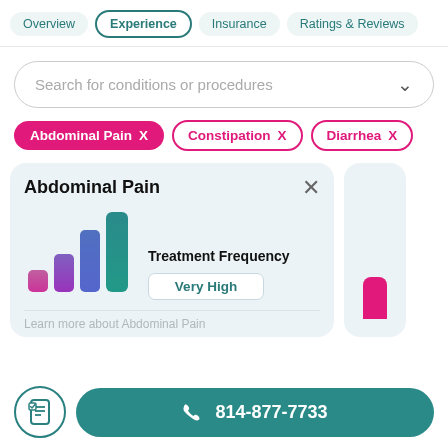Overview | Experience | Insurance | Ratings & Reviews
Search for conditions or procedures
Abdominal Pain X
Constipation X
Diarrhea X
Abdominal Pain
[Figure (bar-chart): Treatment Frequency]
Treatment Frequency
Very High
Learn more about Abdominal Pain
814-877-7733